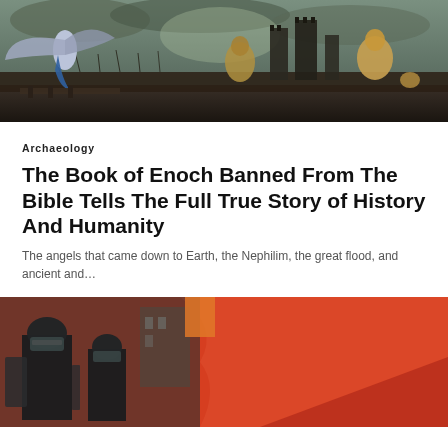[Figure (illustration): Fantasy battle scene with an angelic figure with large wings on the left in a blue robe, and large armored figures facing a dark fortress with a crowd of warriors below, against a stormy grey-green sky.]
Archaeology
The Book of Enoch Banned From The Bible Tells The Full True Story of History And Humanity
The angels that came down to Earth, the Nephilim, the great flood, and ancient and…
[Figure (photo): Two police officers in riot gear and black armor standing in front of a large red background/flag, in an urban setting.]